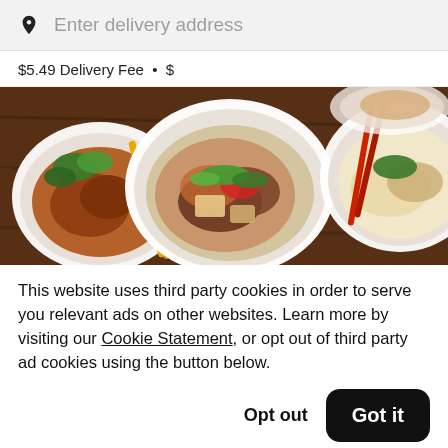Enter delivery address
$5.49 Delivery Fee • $
[Figure (photo): Overhead shot of Vietnamese food dishes on a dark wooden table: bowls with rice, meat, broth, chopsticks, and fresh herbs.]
This website uses third party cookies in order to serve you relevant ads on other websites. Learn more by visiting our Cookie Statement, or opt out of third party ad cookies using the button below.
Opt out
Got it